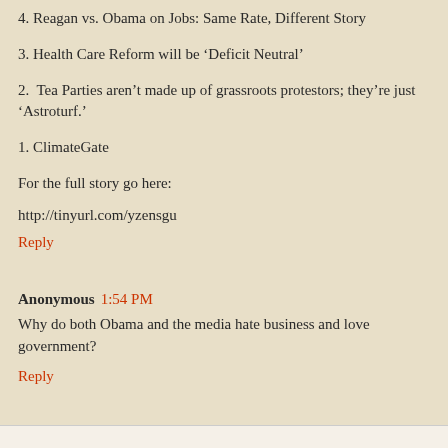4. Reagan vs. Obama on Jobs: Same Rate, Different Story
3. Health Care Reform will be ‘Deficit Neutral’
2. Tea Parties aren’t made up of grassroots protestors; they’re just ‘Astroturf.’
1. ClimateGate
For the full story go here:
http://tinyurl.com/yzensgu
Reply
Anonymous 1:54 PM
Why do both Obama and the media hate business and love government?
Reply